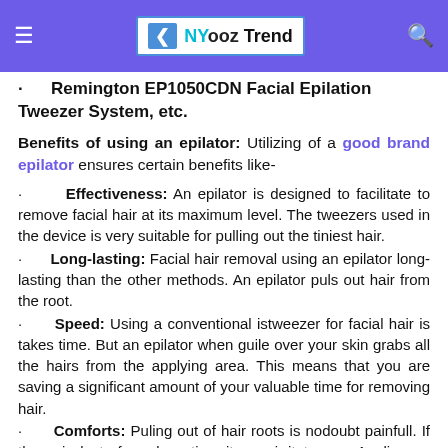NYooz Trend
· Remington EP1050CDN Facial Epilation Tweezer System, etc.
Benefits of using an epilator: Utilizing of a good brand epilator ensures certain benefits like-
· Effectiveness: An epilator is designed to facilitate to remove facial hair at its maximum level. The tweezers used in the device is very suitable for pulling out the tiniest hair.
· Long-lasting: Facial hair removal using an epilator long-lasting than the other methods. An epilator puls out hair from the root.
· Speed: Using a conventional istweezer for facial hair is takes time. But an epilator when guile over your skin grabs all the hairs from the applying area. This means that you are saving a significant amount of your valuable time for removing hair.
· Comforts: Puling out of hair roots is nodoubt painfull. If the pain lasts for a long time it may irritate you. Appling an epilator reduces the duration of your hair plucks pain significantly. This is because the hair roots are plucked very quickly, thereby the process becomes less painful